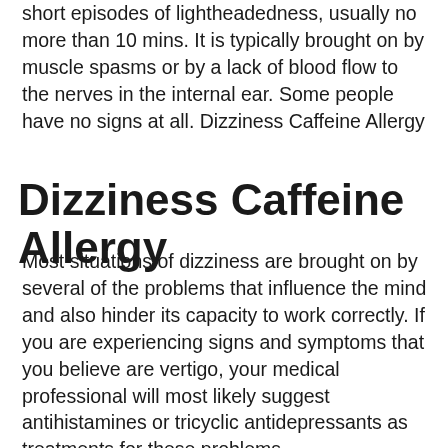short episodes of lightheadedness, usually no more than 10 mins. It is typically brought on by muscle spasms or by a lack of blood flow to the nerves in the internal ear. Some people have no signs at all. Dizziness Caffeine Allergy
Dizziness Caffeine Allergy
Most situations of dizziness are brought on by several of the problems that influence the mind and also hinder its capacity to work correctly. If you are experiencing signs and symptoms that you believe are vertigo, your medical professional will most likely suggest antihistamines or tricyclic antidepressants as treatments for these problems. Antihistamines reduce the task of the